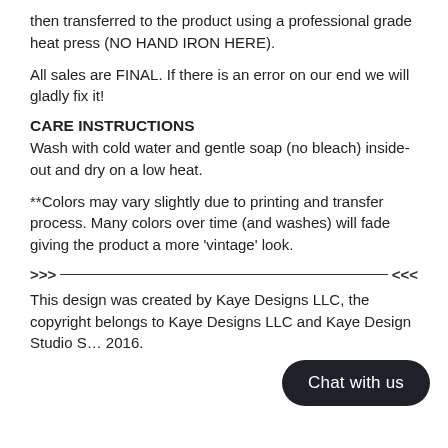then transferred to the product using a professional grade heat press (NO HAND IRON HERE).
All sales are FINAL. If there is an error on our end we will gladly fix it!
CARE INSTRUCTIONS
Wash with cold water and gentle soap (no bleach) inside-out and dry on a low heat.
**Colors may vary slightly due to printing and transfer process. Many colors over time (and washes) will fade giving the product a more 'vintage' look.
[Figure (other): Decorative divider with arrows pointing inward: >>>—————<<<]
This design was created by Kaye Designs LLC, the copyright belongs to Kaye Designs LLC and Kaye Design Studio S… 2016.